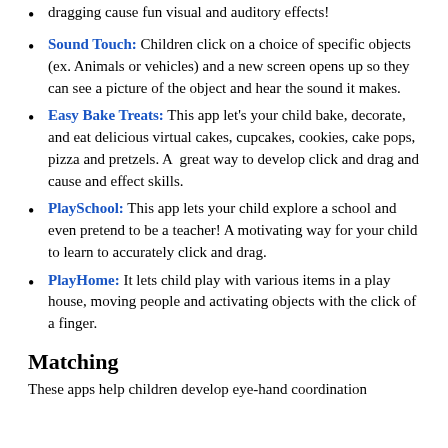dragging cause fun visual and auditory effects!
Sound Touch: Children click on a choice of specific objects (ex. Animals or vehicles) and a new screen opens up so they can see a picture of the object and hear the sound it makes.
Easy Bake Treats: This app let's your child bake, decorate, and eat delicious virtual cakes, cupcakes, cookies, cake pops, pizza and pretzels. A  great way to develop click and drag and cause and effect skills.
PlaySchool: This app lets your child explore a school and even pretend to be a teacher! A motivating way for your child to learn to accurately click and drag.
PlayHome: It lets child play with various items in a play house, moving people and activating objects with the click of a finger.
Matching
These apps help children develop eye-hand coordination